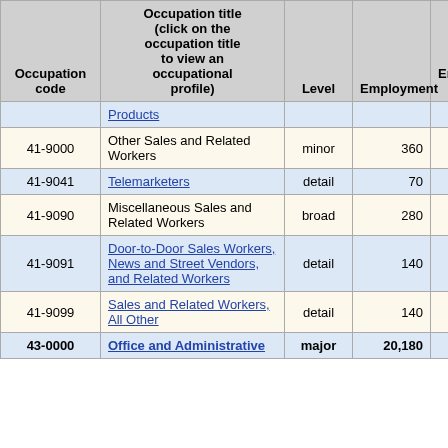| Occupation code | Occupation title (click on the occupation title to view an occupational profile) | Level | Employment | Employment RSE |
| --- | --- | --- | --- | --- |
|  | Products |  |  |  |
| 41-9000 | Other Sales and Related Workers | minor | 360 | 14.7% |
| 41-9041 | Telemarketers | detail | 70 | 26.3% |
| 41-9090 | Miscellaneous Sales and Related Workers | broad | 280 | 16.1% |
| 41-9091 | Door-to-Door Sales Workers, News and Street Vendors, and Related Workers | detail | 140 | 26.5% |
| 41-9099 | Sales and Related Workers, All Other | detail | 140 | 19.6% |
| 43-0000 | Office and Administrative | major | 20,180 | 1.9% |